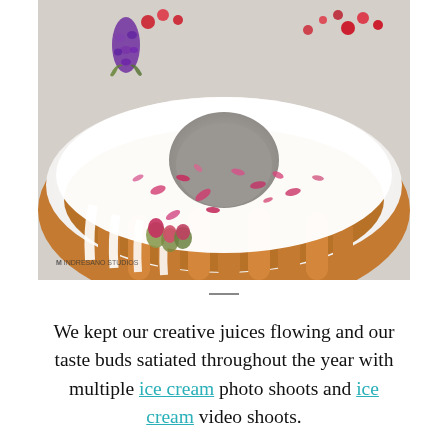[Figure (photo): Close-up overhead photo of a bundt cake with white glaze/icing drizzled over the top, decorated with dried rose petals, rose buds, red berries, and purple corn. The golden-brown ridged sides of the cake are visible at the bottom. A watermark reads 'M INDRESANO STUDIOS' in the lower left.]
We kept our creative juices flowing and our taste buds satiated throughout the year with multiple ice cream photo shoots and ice cream video shoots.